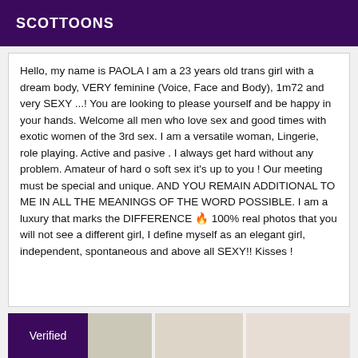SCOTTOONS
Hello, my name is PAOLA I am a 23 years old trans girl with a dream body, VERY feminine (Voice, Face and Body), 1m72 and very SEXY ...! You are looking to please yourself and be happy in your hands. Welcome all men who love sex and good times with exotic women of the 3rd sex. I am a versatile woman, Lingerie, role playing. Active and pasive . I always get hard without any problem. Amateur of hard o soft sex it's up to you ! Our meeting must be special and unique. AND YOU REMAIN ADDITIONAL TO ME IN ALL THE MEANINGS OF THE WORD POSSIBLE. I am a luxury that marks the DIFFERENCE 🔥 100% real photos that you will not see a different girl, I define myself as an elegant girl, independent, spontaneous and above all SEXY!! Kisses !
[Figure (photo): Bottom strip showing a Verified badge on purple background and partial photos]